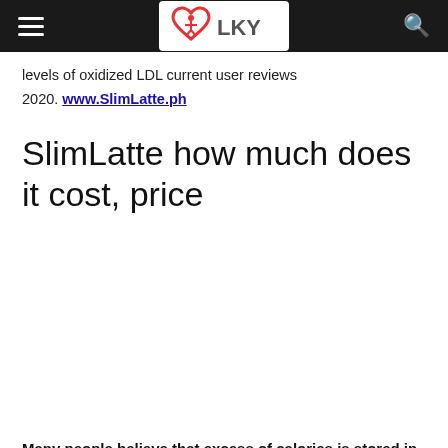LKY (logo navigation bar)
levels of oxidized LDL current user reviews 2020. www.SlimLatte.ph
SlimLatte how much does it cost, price
Many people believe that excess of calories is stored in